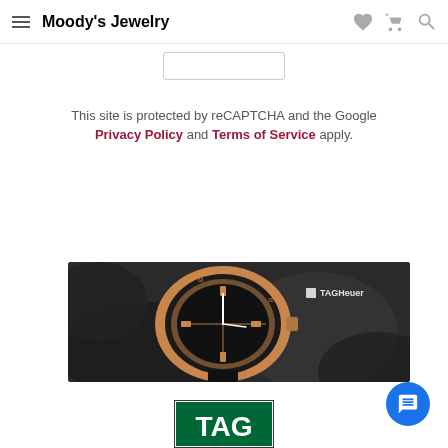Moody's Jewelry
This site is protected by reCAPTCHA and the Google Privacy Policy and Terms of Service apply.
[Figure (photo): TAG Heuer luxury watch (rose gold skeleton chronograph) against a dark textured rocky background, with TAG Heuer logo in upper right]
[Figure (logo): TAG Heuer logo — green rectangle with white TAG text]